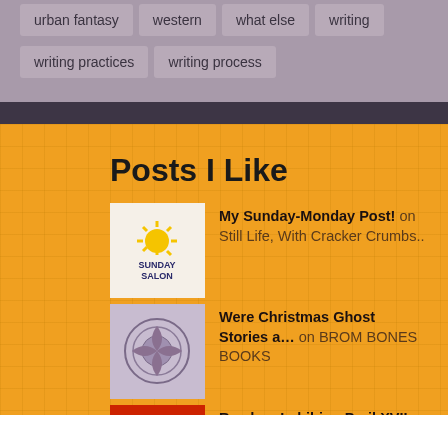urban fantasy
western
what else
writing
writing practices
writing process
Posts I Like
My Sunday-Monday Post! on Still Life, With Cracker Crumbs..
Were Christmas Ghost Stories a… on BROM BONES BOOKS
Readers Imbibing Peril XVII –… on Nishita's Rants and Raves
Goodbye August, Hello Septembe… on Still Life, With Cracker Crumbs.